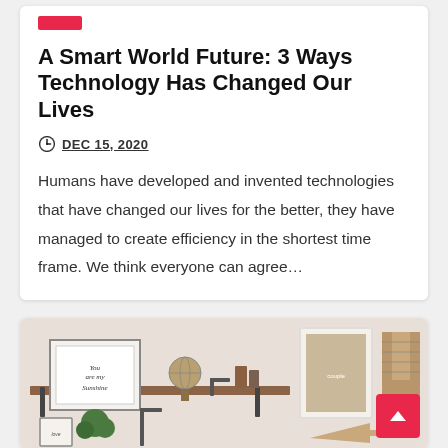A Smart World Future: 3 Ways Technology Has Changed Our Lives
DEC 15, 2020
Humans have developed and invented technologies that have changed our lives for the better, they have managed to create efficiency in the shortest time frame. We think everyone can agree…
[Figure (photo): Photo of decorative wall shelves with framed prints, books, a globe, and wooden decorative letters and arrow, resembling a home décor gallery wall.]